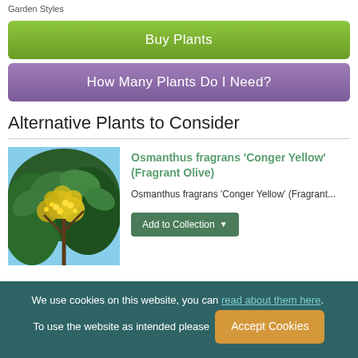Garden Styles ... ... ...
Buy Plants
How Many Plants Do I Need?
Alternative Plants to Consider
[Figure (photo): Close-up photo of Osmanthus fragrans Conger Yellow plant with yellow flowers and green leaves]
Osmanthus fragrans 'Conger Yellow' (Fragrant Olive)
Osmanthus fragrans 'Conger Yellow' (Fragrant...
Add to Collection
We use cookies on this website, you can read about them here. To use the website as intended please
Accept Cookies